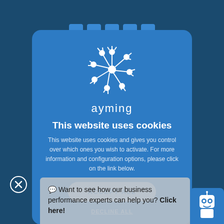[Figure (logo): Ayming company logo: white snowflake/network node graphic above the word 'ayming' in white lowercase letters]
This website uses cookies
This website uses cookies and gives you control over which ones you wish to activate. For more information and configuration options, please click on the link below.
ACCEPT ALL
DECLINE ALL
💬 Want to see how our business performance experts can help you? Click here!